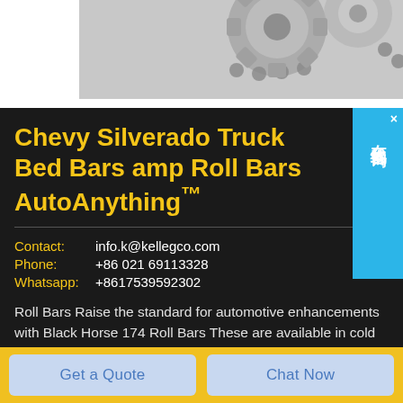[Figure (photo): Partial image of mechanical gear/chain components shown in grayscale at the top of the page]
Chevy Silverado Truck Bed Bars amp Roll Bars AutoAnything™
Contact: info.k@kellegco.com
Phone: +86 021 69113328
Whatsapp: +8617539592302
Roll Bars Raise the standard for automotive enhancements with Black Horse 174 Roll Bars These are available in cold rolled steel powder
[Figure (other): Blue side widget with Chinese text '在线咨询' (online consultation) and close button]
Get a Quote
Chat Now